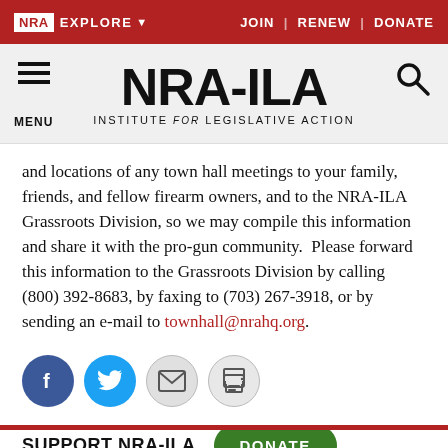NRA EXPLORE  JOIN | RENEW | DONATE
[Figure (logo): NRA-ILA logo with text INSTITUTE for LEGISLATIVE ACTION, hamburger menu icon and search icon]
and locations of any town hall meetings to your family, friends, and fellow firearm owners, and to the NRA-ILA Grassroots Division, so we may compile this information and share it with the pro-gun community.  Please forward this information to the Grassroots Division by calling (800) 392-8683, by faxing to (703) 267-3918, or by sending an e-mail to townhall@nrahq.org.
[Figure (infographic): Social sharing icons: Facebook (blue circle with f), Twitter (light blue circle with bird), Email (grey circle with envelope), Print (grey circle with printer)]
SUPPORT NRA-ILA  DONATE